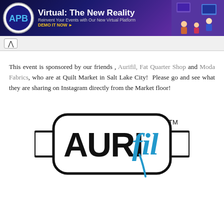[Figure (screenshot): Banner advertisement for APB Virtual: The New Reality — Reinvent Your Events with Our New Virtual Platform. Demo It Now. Dark blue/purple background with illustrated people using screens on the right side.]
^ [navigation arrow]
This event is sponsored by our friends , Aurifil, Fat Quarter Shop and Moda Fabrics, who are at Quilt Market in Salt Lake City!  Please go and see what they are sharing on Instagram directly from the Market floor!
[Figure (logo): Aurifil logo: the word AURIFIL in black bold letters with a blue cursive 'fil' overlapping, inside a rounded rectangle frame resembling a thread spool shape, with TM mark.]